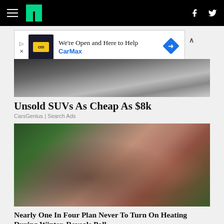HuffPost navigation bar with hamburger menu, logo, Facebook and Twitter icons
[Figure (other): CarMax advertisement banner: 'We're Open and Here to Help' with CarMax logo and blue diamond icon]
[Figure (other): Partial image of an SUV (car advertisement)]
Unsold SUVs As Cheap As $8k
CarsGenius | Search Ads
[Figure (photo): A couple sitting on a couch looking at papers and a laptop together, with a green wall and plant in the background]
Nearly One In Four Plan Never To Turn On Heating During Winter, Reveals Poll